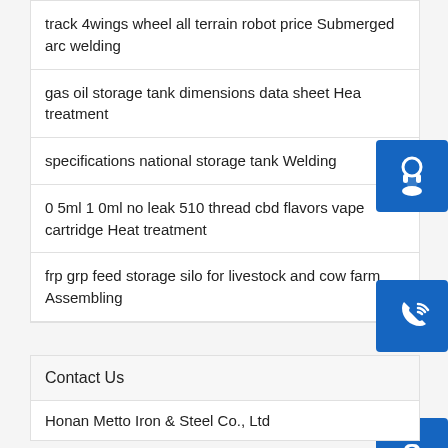track 4wings wheel all terrain robot price Submerged arc welding
gas oil storage tank dimensions data sheet Heat treatment
specifications national storage tank Welding
0 5ml 1 0ml no leak 510 thread cbd flavors vape cartridge Heat treatment
frp grp feed storage silo for livestock and cow farm Assembling
Contact Us
Honan Metto Iron & Steel Co., Ltd